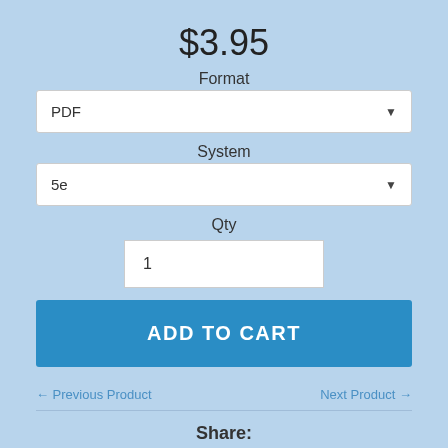$3.95
Format
PDF
System
5e
Qty
1
ADD TO CART
← Previous Product
Next Product →
Share:
Share
Tweet
Pin it